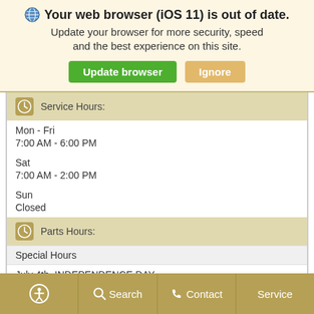Your web browser (iOS 11) is out of date. Update your browser for more security, speed and the best experience on this site.
Update browser | Ignore
Service Hours:
Mon - Fri
7:00 AM - 6:00 PM
Sat
7:00 AM - 2:00 PM
Sun
Closed
Parts Hours:
Special Hours
July 4th, INDEPENDENCE DAY
Closed
Regular Hours
Search | Contact | Service